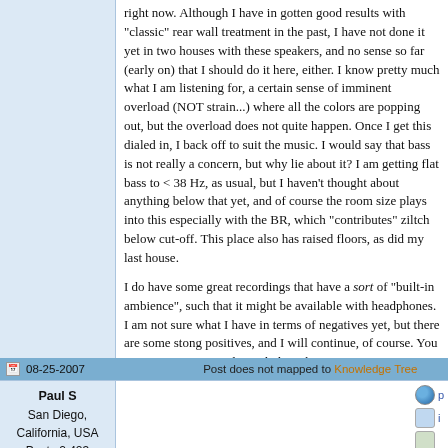right now.  Although I have in gotten good results with "classic" rear wall treatment in the past, I have not done it yet in two houses with these speakers, and no sense so far (early on) that I should do it here, either.  I know pretty much what I am listening for, a certain sense of imminent overload (NOT strain...) where all the colors are popping out, but the overload does not quite happen.  Once I get this dialed in, I back off to suit the music.  I would say that bass is not really a concern, but why lie about it?  I am getting flat bass to < 38 Hz, as usual, but I haven't thought about anything below that yet, and of course the room size plays into this especially with the BR, which "contributes" ziltch below cut-off.  This place also has raised floors, as did my last house.
I do have some great recordings that have a sort of "built-in ambience", such that it might be available with headphones.  I am not sure what I have in terms of negatives yet, but there are some stong positives, and I will continue, of course.  You pays your money and you dodges the taxman.
Best regards,
Paul S
08-25-2007   Post does not mapped to Knowledge Tree
Paul S
San Diego, California, USA
Posts 2,423
Joined on 10-12-2006